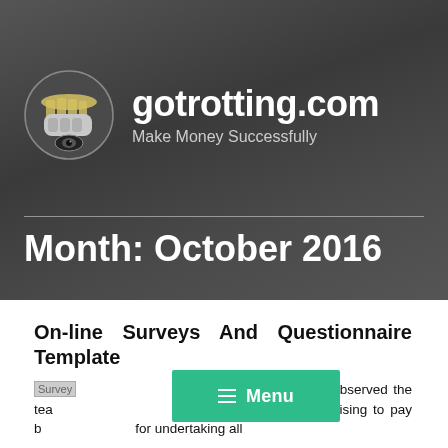gotrotting.com — Make Money Successfully
Month: October 2016
On-line Surveys And Questionnaire Template
We've all observed the tea[zing] advertisements, promising to pay b[ig] for undertaking all